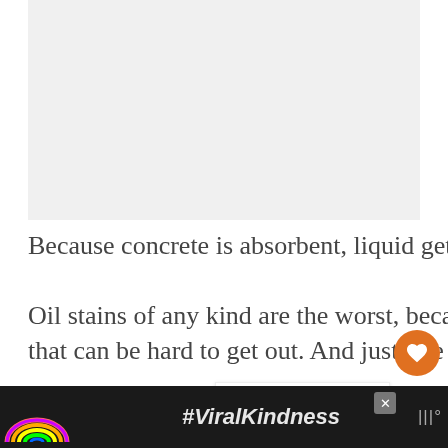[Figure (photo): Blank/light gray image placeholder at the top of the page]
Because concrete is absorbent, liquid gets into those pores.

Oil stains of any kind are the worst, because concrete allows discol[oration] that can be hard to get out. And just like
[Figure (infographic): WHAT'S NEXT arrow label in orange, with thumbnail image and text 'How to Remove...']
[Figure (infographic): Advertisement bar at bottom: rainbow illustration with #ViralKindness hashtag on dark background, close button X, and logo]